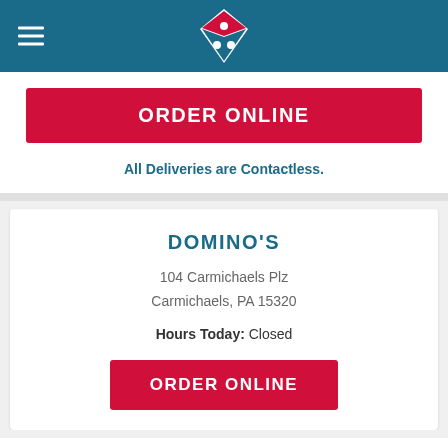[Figure (logo): Domino's Pizza logo (white diamond with red top diamond and two blue dots) on teal/blue header background with hamburger menu icon on left]
ORDER ONLINE
All Deliveries are Contactless.
DOMINO'S
104 Carmichaels Plz
Carmichaels, PA 15320
Hours Today: Closed
ORDER ONLINE
Map
Details
Call
Search